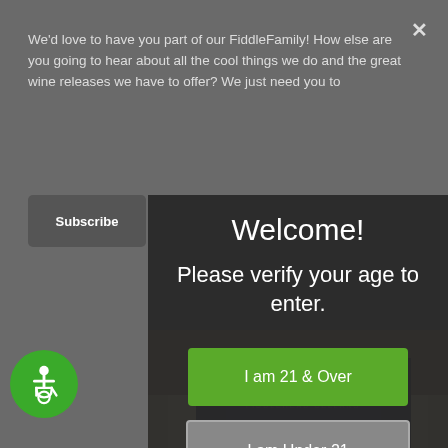We'd love to have you part of our FiddleFamily! How else are you going to hear about all the cool things we do and the great wine releases we have to offer? We just need you to
Subscribe
Welcome!
Please verify your age to enter.
I am 21 & Over
I am Under 21
[Figure (photo): Building exterior photo - appears to be a winery or tasting room]
[Figure (photo): Second building exterior photo - darker, night or dusk shot of winery]
[Figure (illustration): Accessibility icon - white figure in wheelchair on green circle background]